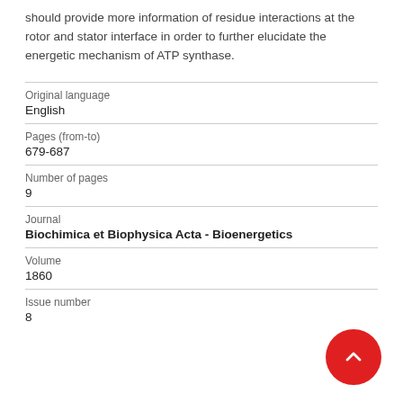should provide more information of residue interactions at the rotor and stator interface in order to further elucidate the energetic mechanism of ATP synthase.
| Original language | English |
| Pages (from-to) | 679-687 |
| Number of pages | 9 |
| Journal | Biochimica et Biophysica Acta - Bioenergetics |
| Volume | 1860 |
| Issue number | 8 |